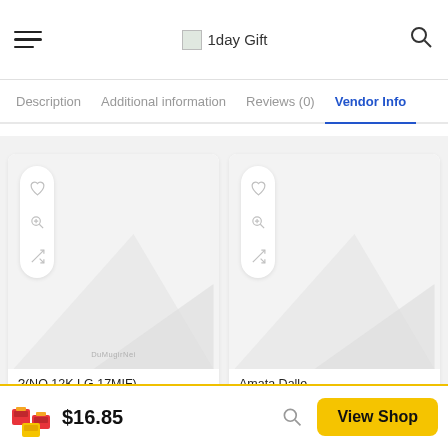1day Gift
Description
Additional information
Reviews (0)
Vendor Info
[Figure (screenshot): Product card 1 with placeholder image and action buttons (heart, zoom, shuffle). Title: ?(NO.12K LG 17MIF)]
[Figure (screenshot): Product card 2 with placeholder image and action buttons (heart, zoom, shuffle). Title: Amata Dalle]
$16.85  View Shop